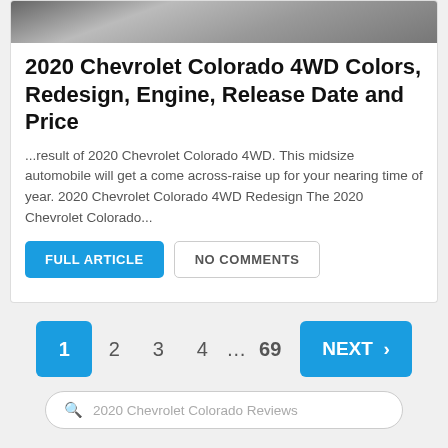[Figure (photo): Top portion of a car photo showing the front of a Chevrolet Colorado]
2020 Chevrolet Colorado 4WD Colors, Redesign, Engine, Release Date and Price
...result of 2020 Chevrolet Colorado 4WD. This midsize automobile will get a come across-raise up for your nearing time of year. 2020 Chevrolet Colorado 4WD Redesign The 2020 Chevrolet Colorado...
FULL ARTICLE   NO COMMENTS
1  2  3  4  …  69   NEXT >
2020 Chevrolet Colorado Reviews